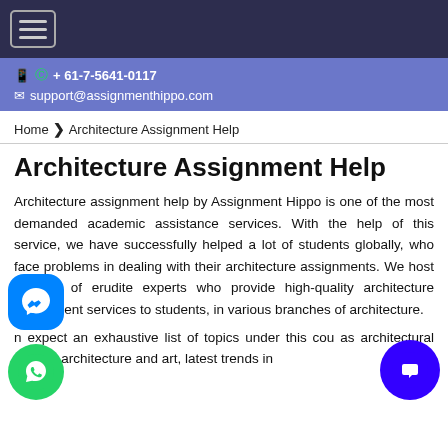Navigation bar with hamburger menu
+ 61-7-5641-0117  support@assignmenthippo.com
Home > Architecture Assignment Help
Architecture Assignment Help
Architecture assignment help by Assignment Hippo is one of the most demanded academic assistance services. With the help of this service, we have successfully helped a lot of students globally, who face problems in dealing with their architecture assignments. We host a team of erudite experts who provide high-quality architecture assignment services to students, in various branches of architecture.
n expect an exhaustive list of topics under this cou as architectural design, architecture and art, latest trends in